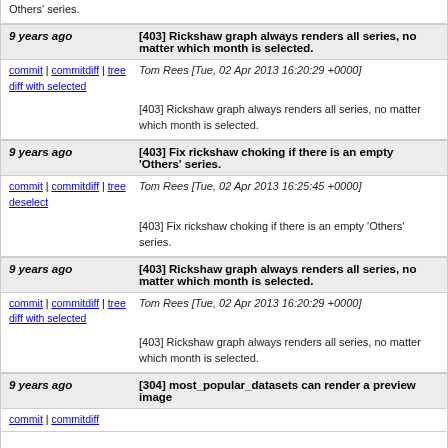Others' series.
9 years ago  [403] Rickshaw graph always renders all series, no matter which month is selected.
commit | commitdiff | tree diff with selected   Tom Rees [Tue, 02 Apr 2013 16:20:29 +0000]
[403] Rickshaw graph always renders all series, no matter which month is selected.
9 years ago  [403] Fix rickshaw choking if there is an empty 'Others' series.
commit | commitdiff | tree deselect   Tom Rees [Tue, 02 Apr 2013 16:25:45 +0000]
[403] Fix rickshaw choking if there is an empty 'Others' series.
9 years ago  [403] Rickshaw graph always renders all series, no matter which month is selected.
commit | commitdiff | tree diff with selected   Tom Rees [Tue, 02 Apr 2013 16:20:29 +0000]
[403] Rickshaw graph always renders all series, no matter which month is selected.
9 years ago  [304] most_popular_datasets can render a preview image